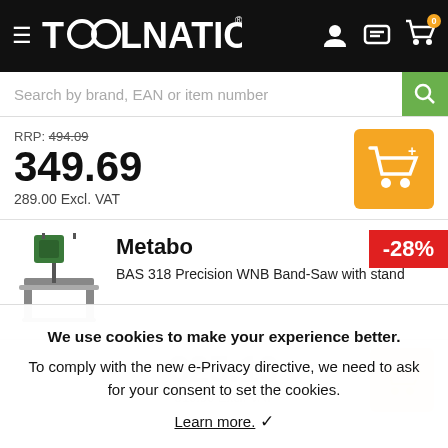[Figure (screenshot): Toolnation e-commerce website header with logo, hamburger menu, user/chat/cart icons]
Search by brand, EAN or item number
RRP: 494.09
349.69
289.00 Excl. VAT
-28%
[Figure (photo): Metabo BAS 318 Precision WNB Band-Saw with stand product image]
Metabo
BAS 318 Precision WNB Band-Saw with stand
We use cookies to make your experience better. To comply with the new e-Privacy directive, we need to ask for your consent to set the cookies.
Learn more. ✓